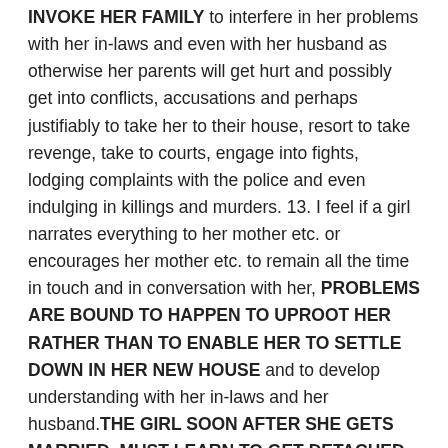INVOKE HER FAMILY to interfere in her problems with her in-laws and even with her husband as otherwise her parents will get hurt and possibly get into conflicts, accusations and perhaps justifiably to take her to their house, resort to take revenge, take to courts, engage into fights, lodging complaints with the police and even indulging in killings and murders. 13. I feel if a girl narrates everything to her mother etc. or encourages her mother etc. to remain all the time in touch and in conversation with her, PROBLEMS ARE BOUND TO HAPPEN TO UPROOT HER RATHER THAN TO ENABLE HER TO SETTLE DOWN IN HER NEW HOUSE and to develop understanding with her in-laws and her husband.THE GIRL SOON AFTER SHE GETS MARRIED, MUST LEARN TO GET DETACHED FROM HER HOUSE AND DO HER BEST TO SETTLE DOWN WITH HER HUSBAND AND HIS FAMILY. 14. I also feel that WOMAN HAS GREAT ART to observe, understand, she is emotional, has beauty and all charms, has immense quality of patience etc. etc. IF SHE WISHES AND IS DETERMINED SHE CAN MOULD HER HUSBAND IN THE MANNER SHE WANTS, man is nothing if the WIFE USES ALL HER INBORN AND ACQUIRED QUALITIES, she can